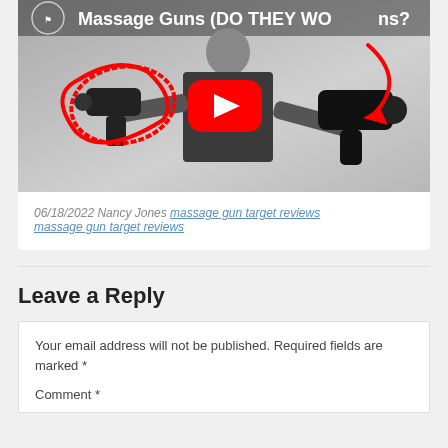[Figure (screenshot): YouTube video thumbnail showing a man in a black 'UNIVERSITY' t-shirt holding two massage guns. Red circle drawn around the gun in his left hand, red arrow pointing to the gun in his right. Video title text: 'Massage Guns (DO THEY WO...'. Red YouTube play button in the center.]
06/18/2022 Nancy Jones massage gun target reviews massage gun target reviews
Leave a Reply
Your email address will not be published. Required fields are marked *
Comment *